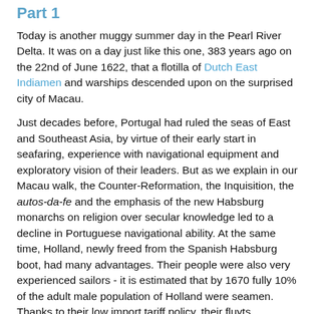Part 1
Today is another muggy summer day in the Pearl River Delta. It was on a day just like this one, 383 years ago on the 22nd of June 1622, that a flotilla of Dutch East Indiamen and warships descended upon on the surprised city of Macau.
Just decades before, Portugal had ruled the seas of East and Southeast Asia, by virtue of their early start in seafaring, experience with navigational equipment and exploratory vision of their leaders. But as we explain in our Macau walk, the Counter-Reformation, the Inquisition, the autos-da-fe and the emphasis of the new Habsburg monarchs on religion over secular knowledge led to a decline in Portuguese navigational ability. At the same time, Holland, newly freed from the Spanish Habsburg boot, had many advantages. Their people were also very experienced sailors - it is estimated that by 1670 fully 10% of the adult male population of Holland were seamen. Thanks to their low import tariff policy, their fluyts dominated trading routes all over Europe, including the most important commodity for building ships - wood, brought over from the Baltics. In 1596, their invention of the flyuts, among other pillars on the production base, was...